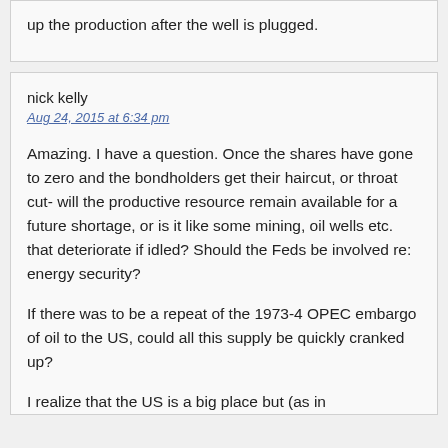up the production after the well is plugged.
nick kelly
Aug 24, 2015 at 6:34 pm
Amazing. I have a question. Once the shares have gone to zero and the bondholders get their haircut, or throat cut- will the productive resource remain available for a future shortage, or is it like some mining, oil wells etc. that deteriorate if idled? Should the Feds be involved re: energy security?
If there was to be a repeat of the 1973-4 OPEC embargo of oil to the US, could all this supply be quickly cranked up?
I realize that the US is a big place but (as in